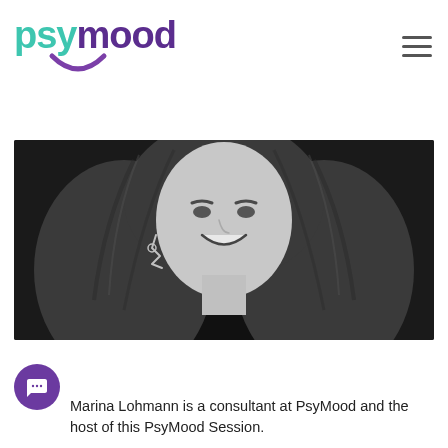psymood
[Figure (photo): Black and white portrait photo of Marina Lohmann, a woman with long wavy hair and decorative earrings, wearing a dark top, smiling]
Marina Lohmann is a consultant at PsyMood and the host of this PsyMood Session.